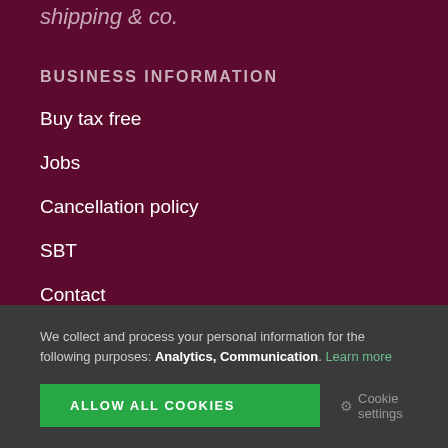shipping & co.
BUSINESS INFORMATION
Buy tax free
Jobs
Cancellation policy
SBT
Contact
We collect and process your personal information for the following purposes: Analytics, Communication. Learn more
ALLOW ALL COOKIES
Cookie settings